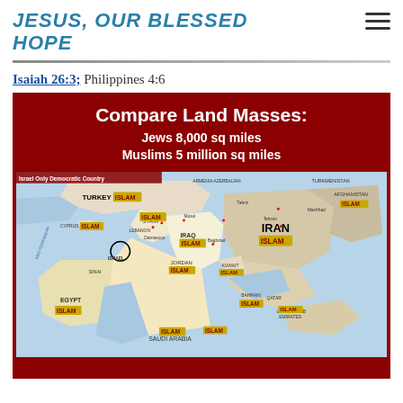JESUS, OUR BLESSED HOPE
Isaiah 26:3; Philippines 4:6
[Figure (infographic): Infographic titled 'Compare Land Masses:' showing Jews 8,000 sq miles vs Muslims 5 million sq miles, with a map of the Middle East showing ISLAM labels on Turkey, Syria, Lebanon, Iraq, Iran, Jordan, Egypt, Saudi Arabia, Bahrain, Kuwait, UAE, and Afghanistan, with Israel circled as the only democratic country.]